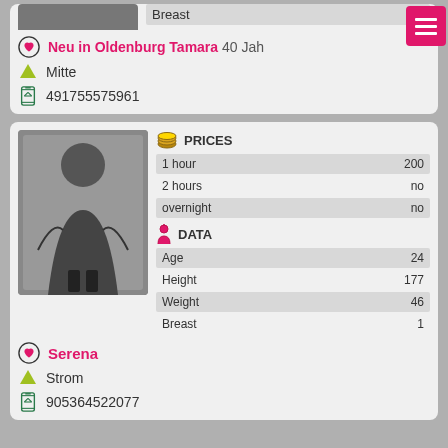Breast 2
Neu in Oldenburg Tamara 40 Jah
Mitte
491755575961
[Figure (photo): Person in black outfit full body mirror selfie]
|  | PRICES |  |
| --- | --- | --- |
| 1 hour | 200 |  |
| 2 hours | no |  |
| overnight | no |  |
|  | DATA |  |
| Age | 24 |  |
| Height | 177 |  |
| Weight | 46 |  |
| Breast | 1 |  |
Serena
Strom
905364522077